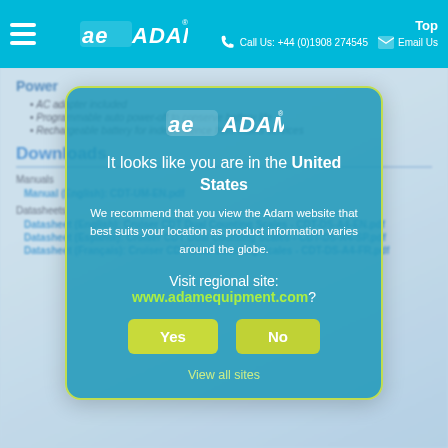Call Us: +44 (0)1908 274545 | Email Us | Top
Power
AC adapter included
Programmable auto power-off to conserve battery
Rechargeable battery for independence from mains services
Downloads
Manuals
Manual (English): CDT-UM-EN.pdf
Datasheets
Datasheet (English): Cruiser CDT Dual Counting Scales - CDT-DS-A4-EN.pdf
Datasheet (Español): Cruiser CDT Dual Counting Scales - CDT-DS-A4-SP.pdf
Datasheet (Français): Cruiser CDT Dual Counting Scales - CDT-DS-A4-FR.pdf
[Figure (screenshot): Modal dialog from Adam Equipment website asking user if they are in the United States and recommending they visit www.adamequipment.com. Contains Yes and No buttons and a View all sites link.]